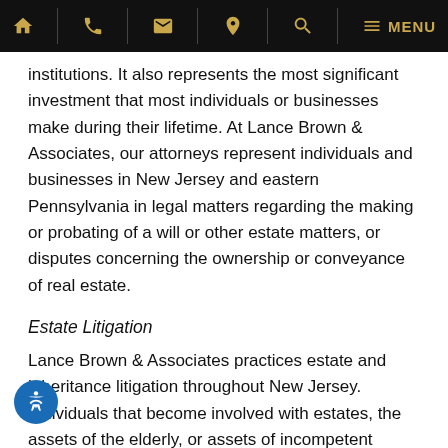Navigation bar with home, phone, email, location, search, and menu icons
institutions. It also represents the most significant investment that most individuals or businesses make during their lifetime. At Lance Brown & Associates, our attorneys represent individuals and businesses in New Jersey and eastern Pennsylvania in legal matters regarding the making or probating of a will or other estate matters, or disputes concerning the ownership or conveyance of real estate.
Estate Litigation
Lance Brown & Associates practices estate and inheritance litigation throughout New Jersey. Individuals that become involved with estates, the assets of the elderly, or assets of incompetent individuals face issues that they are not equipped to handle on their own. Powers of attorney may be